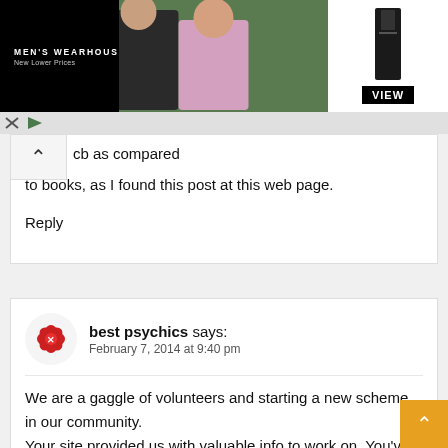[Figure (photo): Men's Wearhouse advertisement banner showing a couple in formal wear and a man in a tuxedo with 'VIEW' button]
cb as compared to books, as I found this post at this web page.
Reply
best psychics says:
February 7, 2014 at 9:40 pm
We are a gaggle of volunteers and starting a new scheme in our community.
Your site provided us with valuable info to work on. You've done a formidable job and our whole